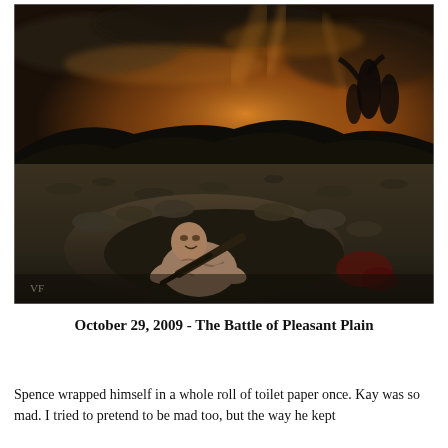[Figure (illustration): A dramatic war illustration showing a soldier in a trench holding a rifle, looking upward with a fearful expression. The background shows a dark, smoky battlefield with distant silhouettes of figures and a burning orange sky behind dark hills.]
October 29, 2009 - The Battle of Pleasant Plain
Spence wrapped himself in a whole roll of toilet paper once. Kay was so mad. I tried to pretend to be mad too, but the way he kept...